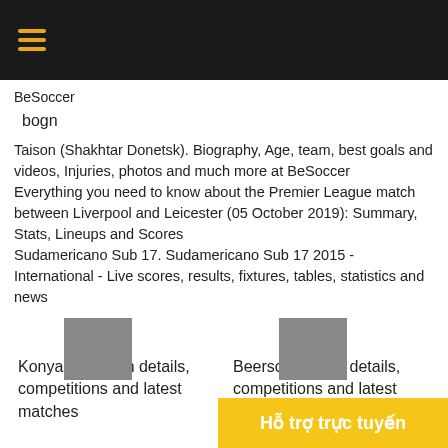BeSoccer (hamburger menu icon)
BeSoccer
bogn
Taison (Shakhtar Donetsk). Biography, Age, team, best goals and videos, Injuries, photos and much more at BeSoccer
Everything you need to know about the Premier League match between Liverpool and Leicester (05 October 2019): Summary, Stats, Lineups and Scores
Sudamericano Sub 17. Sudamericano Sub 17 2015 - International - Live scores, results, fixtures, tables, statistics and news
Konyaspor team details, competitions and latest matches
Beerschot team details, competitions and latest matches
Hỗ trợ trực tuyến